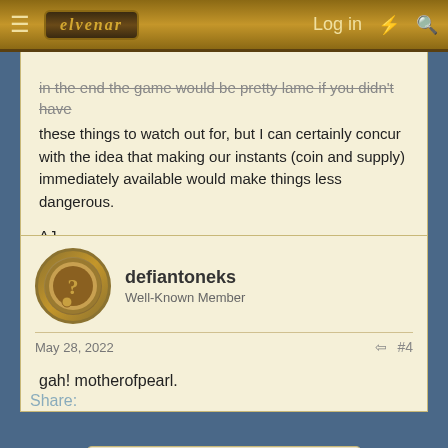Elvenar | Log in
in the end the game would be pretty lame if you didn't have these things to watch out for, but I can certainly concur with the idea that making our instants (coin and supply) immediately available would make things less dangerous.

AJ
defiantoneks
Well-Known Member
May 28, 2022 #4
gah! motherofpearl.
You must log in or register to reply here.
Share: